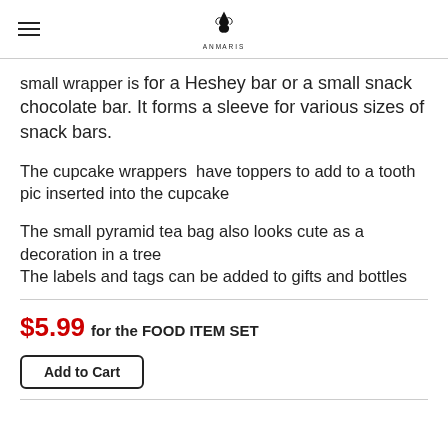AnMaris [logo]
small wrapper is for a Heshey bar or a small snack chocolate bar. It forms a sleeve for various sizes of snack bars.
The cupcake wrappers  have toppers to add to a tooth pic inserted into the cupcake
The small pyramid tea bag also looks cute as a decoration in a tree
The labels and tags can be added to gifts and bottles
$5.99 for the FOOD ITEM SET
Add to Cart